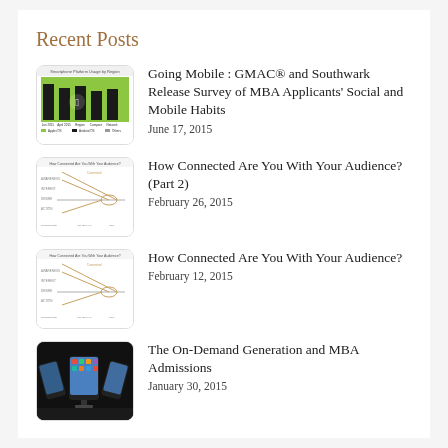Recent Posts
[Figure (screenshot): Thumbnail of bar chart showing Smartphone Platform Usage by Region]
Going Mobile : GMAC® and Southwark Release Survey of MBA Applicants' Social and Mobile Habits
June 17, 2015
[Figure (screenshot): Thumbnail of How Connected Are You With Your Audience diagram]
How Connected Are You With Your Audience? (Part 2)
February 26, 2015
[Figure (screenshot): Thumbnail of How Connected Are You With Your Audience diagram]
How Connected Are You With Your Audience?
February 12, 2015
[Figure (photo): Thumbnail of multiple curved display monitors showing colorful content]
The On-Demand Generation and MBA Admissions
January 30, 2015